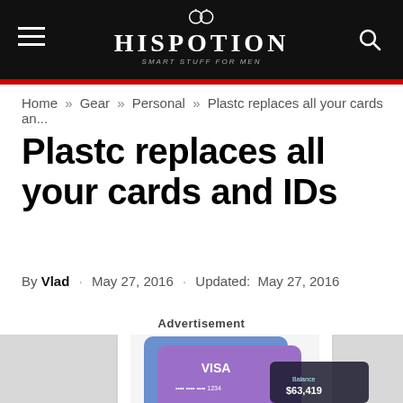HISPOTION – Smart Stuff for Men
Home » Gear » Personal » Plastc replaces all your cards an...
Plastc replaces all your cards and IDs
By Vlad · May 27, 2016 · Updated: May 27, 2016
Advertisement
[Figure (photo): Smartphone displaying a digital wallet app with Visa cards and account balance of $63,419]